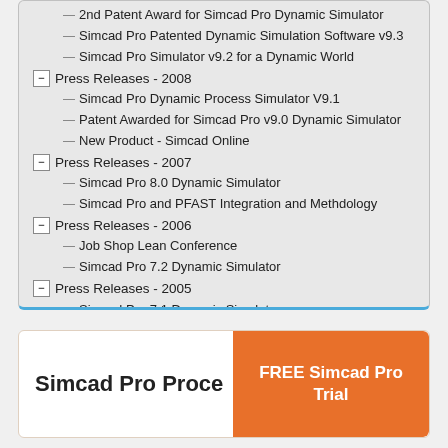2nd Patent Award for Simcad Pro Dynamic Simulator
Simcad Pro Patented Dynamic Simulation Software v9.3
Simcad Pro Simulator v9.2 for a Dynamic World
Press Releases - 2008
Simcad Pro Dynamic Process Simulator V9.1
Patent Awarded for Simcad Pro v9.0 Dynamic Simulator
New Product - Simcad Online
Press Releases - 2007
Simcad Pro 8.0 Dynamic Simulator
Simcad Pro and PFAST Integration and Methdology
Press Releases - 2006
Job Shop Lean Conference
Simcad Pro 7.2 Dynamic Simulator
Press Releases - 2005
Simcad Pro 7.1 Dynamic Simulator
Simcad Pro 7.0 Dynamic Simulator
SimDATA Pocket PC Data Collector
New Simcad Module Bring Ease and Flexibility to Business
Simcad Pro Proce…
FREE Simcad Pro Trial